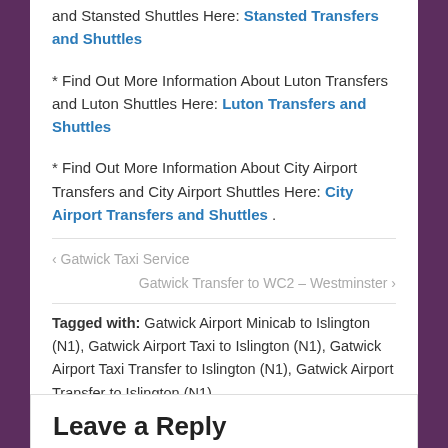and Stansted Shuttles Here: Stansted Transfers and Shuttles
* Find Out More Information About Luton Transfers and Luton Shuttles Here: Luton Transfers and Shuttles
* Find Out More Information About City Airport Transfers and City Airport Shuttles Here: City Airport Transfers and Shuttles .
‹ Gatwick Taxi Service
Gatwick Transfer to WC2 – Westminster ›
Tagged with: Gatwick Airport Minicab to Islington (N1), Gatwick Airport Taxi to Islington (N1), Gatwick Airport Taxi Transfer to Islington (N1), Gatwick Airport Transfer to Islington (N1)
Posted in Gatwick Transfers
Leave a Reply